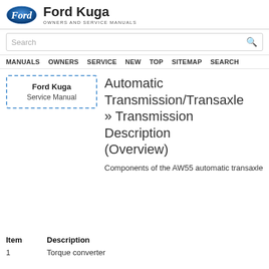Ford Kuga — Owners and Service Manuals
Automatic Transmission/Transaxle » Transmission Description (Overview)
Components of the AW55 automatic transaxle
| Item | Description |
| --- | --- |
| 1 | Torque converter |